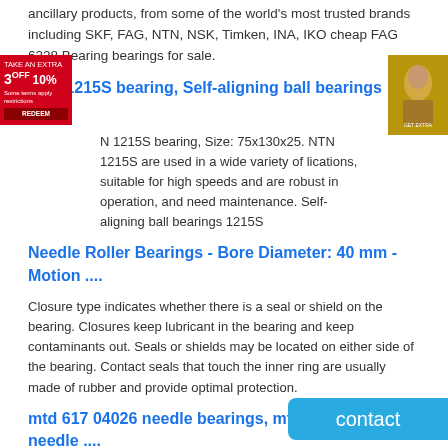ancillary products, from some of the world's most trusted brands including SKF, FAG, NTN, NSK, Timken, INA, IKO cheap FAG 6228 Bearing bearings for sale.
NTN 1215S bearing, Self-aligning ball bearings 121...
N 1215S bearing, Size: 75x130x25. NTN 1215S are used in a wide variety of lications, suitable for high speeds and are robust in operation, and need maintenance. Self-aligning ball bearings 1215S
Needle Roller Bearings - Bore Diameter: 40 mm - Motion ....
Closure type indicates whether there is a seal or shield on the bearing. Closures keep lubricant in the bearing and keep contaminants out. Seals or shields may be located on either side of the bearing. Contact seals that touch the inner ring are usually made of rubber and provide optimal protection.
mtd 617 04026 needle bearings, mtd 617 04026 needle ....
Alibaba.com offers 80 mtd 617 04026 needle bearings products. A wide variety of mtd 617 04026 needle bearings options are available to you,
SKF 30307J2/Q bearing in Bulgaria | Leader Beari...
SKF 30307J2/Q bearing in Bulgaria can ensure high quality raw material of SKF 30307J2/Q bearing in Bulgaria provides. Explorer series bearing of SKF 30307J2/Q bearing in Bulgaria are better than